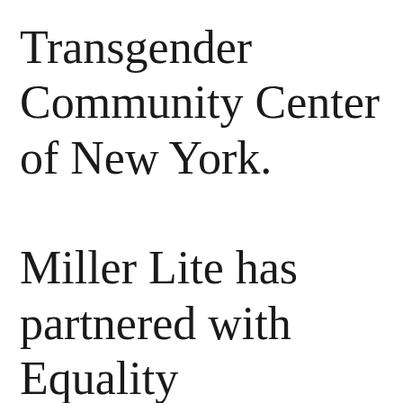Transgender Community Center of New York.

Miller Lite has partnered with Equality Federation since 2017 and made